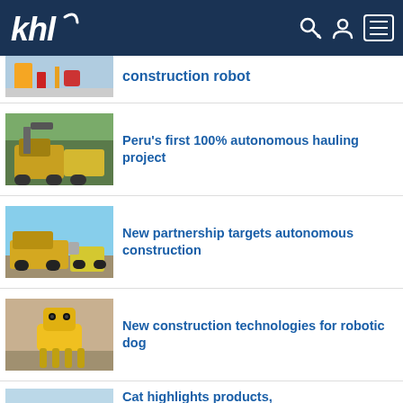khl
construction robot
Peru's first 100% autonomous hauling project
New partnership targets autonomous construction
New construction technologies for robotic dog
Cat highlights products,